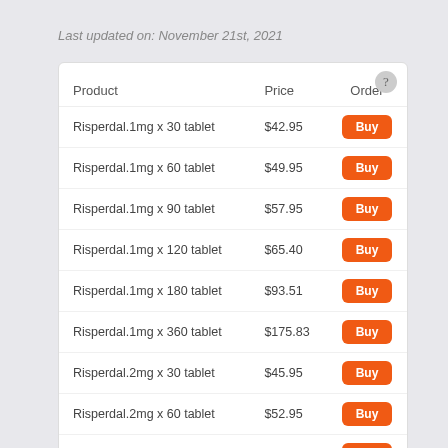Last updated on: November 21st, 2021
| Product | Price | Order |
| --- | --- | --- |
| Risperdal.1mg x 30 tablet | $42.95 | Buy |
| Risperdal.1mg x 60 tablet | $49.95 | Buy |
| Risperdal.1mg x 90 tablet | $57.95 | Buy |
| Risperdal.1mg x 120 tablet | $65.40 | Buy |
| Risperdal.1mg x 180 tablet | $93.51 | Buy |
| Risperdal.1mg x 360 tablet | $175.83 | Buy |
| Risperdal.2mg x 30 tablet | $45.95 | Buy |
| Risperdal.2mg x 60 tablet | $52.95 | Buy |
| Risperdal.2mg x 90 tablet | $59.96 | Buy |